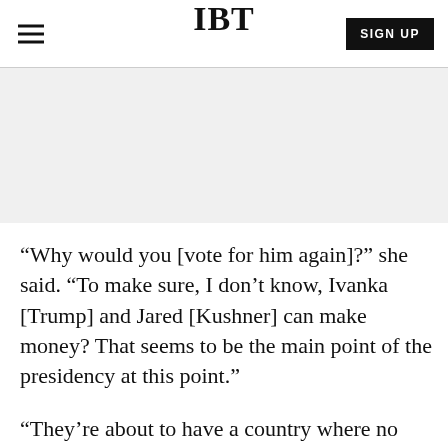IBT
[Figure (other): Gray advertisement/banner placeholder area]
“Why would you [vote for him again]?” she said. “To make sure, I don’t know, Ivanka [Trump] and Jared [Kushner] can make money? That seems to be the main point of the presidency at this point.”
“They’re about to have a country where no Republican will ever be elected president again,” she added. “Trump will just have been a joke